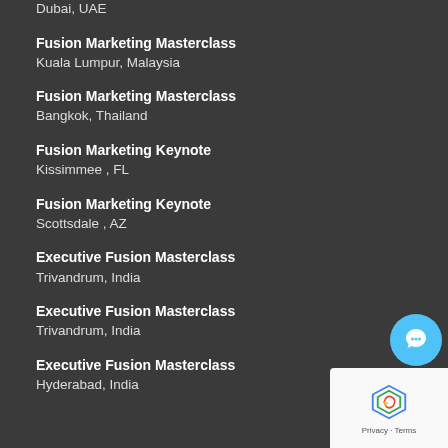Dubai, UAE
Fusion Marketing Masterclass
Kuala Lumpur, Malaysia
Fusion Marketing Masterclass
Bangkok, Thailand
Fusion Marketing Keynote
Kissimmee , FL
Fusion Marketing Keynote
Scottsdale , AZ
Executive Fusion Masterclass
Trivandrum, India
Executive Fusion Masterclass
Trivandrum, India
Executive Fusion Masterclass
Hyderabad, India